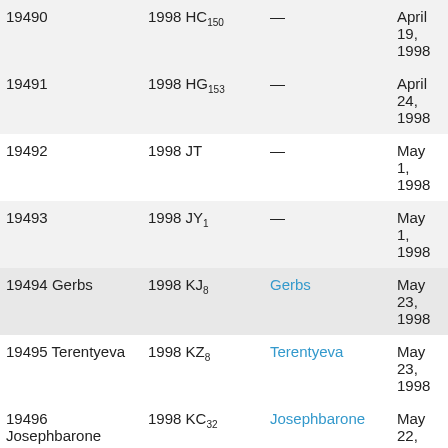| Number & Name | Designation | Named after | Discovery date | Discoverer |
| --- | --- | --- | --- | --- |
| 19490 | 1998 HC₁₅₀ | — | April 19, 1998 | Kitt Pe… |
| 19491 | 1998 HG₁₅₃ | — | April 24, 1998 | Socor… |
| 19492 | 1998 JT | — | May 1, 1998 | Haleak… |
| 19493 | 1998 JY₁ | — | May 1, 1998 | Haleak… |
| 19494 Gerbs | 1998 KJ₈ | Gerbs | May 23, 1998 | Anders… Mesa |
| 19495 Terentyeva | 1998 KZ₈ | Terentyeva | May 23, 1998 | Anders… Mesa |
| 19496 Josephbarone | 1998 KC₃₂ | Josephbarone | May 22, 1998 | Socor… |
| 19497 Pineda | 1998 KN₃₂ | Pineda | May 22, 1998 | Socor… |